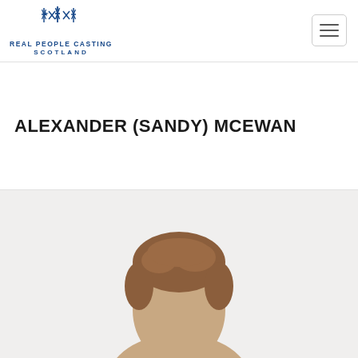[Figure (logo): Real People Casting Scotland logo with stars above the text]
ALEXANDER (SANDY) MCEWAN
[Figure (photo): Portrait photo of Alexander (Sandy) McEwan, partially visible from the top of the head]